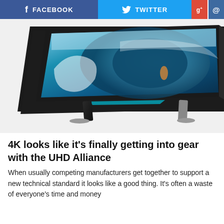FACEBOOK  TWITTER  G+  @
[Figure (photo): A large curved 4K UHD television displaying a surfer riding inside a massive blue wave, shown in perspective view with silver stand legs]
4K looks like it's finally getting into gear with the UHD Alliance
When usually competing manufacturers get together to support a new technical standard it looks like a good thing. It's often a waste of everyone's time and money